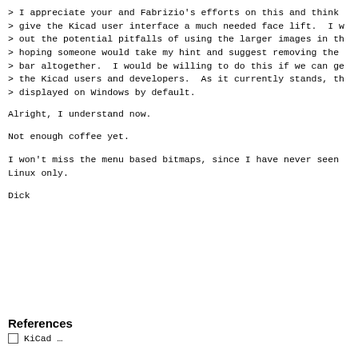> I appreciate your and Fabrizio's efforts on this and think
> give the Kicad user interface a much needed face lift.  I w
> out the potential pitfalls of using the larger images in th
> hoping someone would take my hint and suggest removing the
> bar altogether.  I would be willing to do this if we can ge
> the Kicad users and developers.  As it currently stands, th
> displayed on Windows by default.
Alright, I understand now.
Not enough coffee yet.
I won't miss the menu based bitmaps, since I have never seen
Linux only.
Dick
References
☐ KiCad …